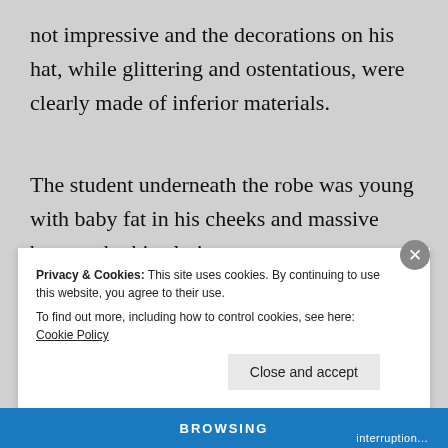not impressive and the decorations on his hat, while glittering and ostentatious, were clearly made of inferior materials.
The student underneath the robe was young with baby fat in his cheeks and massive bags under his glaring eyes.
Privacy & Cookies: This site uses cookies. By continuing to use this website, you agree to their use.
To find out more, including how to control cookies, see here: Cookie Policy
Close and accept